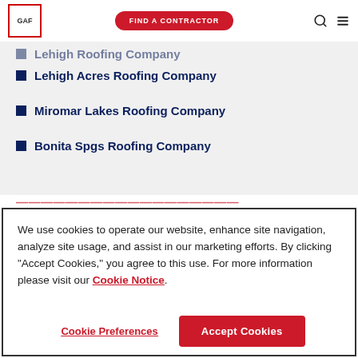GAF | FIND A CONTRACTOR
Lehigh Roofing Company (partial, cut off at top)
Lehigh Acres Roofing Company
Miromar Lakes Roofing Company
Bonita Spgs Roofing Company
We use cookies to operate our website, enhance site navigation, analyze site usage, and assist in our marketing efforts. By clicking "Accept Cookies," you agree to this use. For more information please visit our Cookie Notice.
Cookie Preferences | Accept Cookies